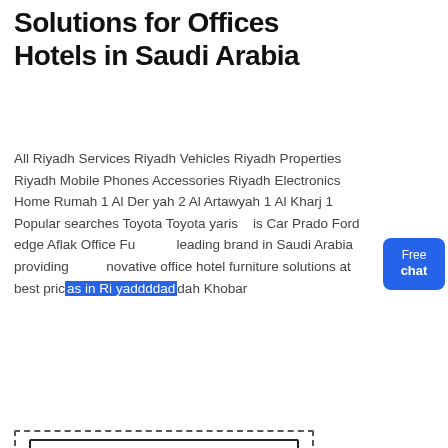Solutions for Offices Hotels in Saudi Arabia
All Riyadh Services Riyadh Vehicles Riyadh Properties Riyadh Mobile Phones Accessories Riyadh Electronics Home Rumah 1 Al Der yah 2 Al Artawyah 1 Al Kharj 1 Popular searches Toyota Toyota yaris Car Prado Ford edge Aflak Office Fu leading brand in Saudi Arabia providing novative office hotel furniture solutions at best prices in Riyadh Jeddah Khobar
[Figure (screenshot): Blue 'Free chat' button with customer service avatar figure on the right side]
[Figure (screenshot): Chat interface box with dashed and solid border containing 'chat' and 'lin' text]
apollo concasseur plantes italie
Get a Quote
WhatsApp
Please enter ...
-Send-